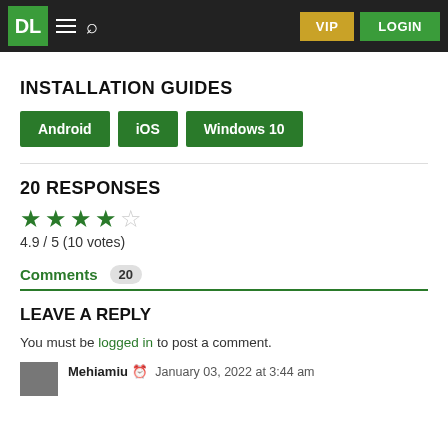DL | VIP | LOGIN
INSTALLATION GUIDES
Android
iOS
Windows 10
20 RESPONSES
4.9 / 5 (10 votes)
Comments 20
LEAVE A REPLY
You must be logged in to post a comment.
Mehiamiu — January 03, 2022 at 3:44 am